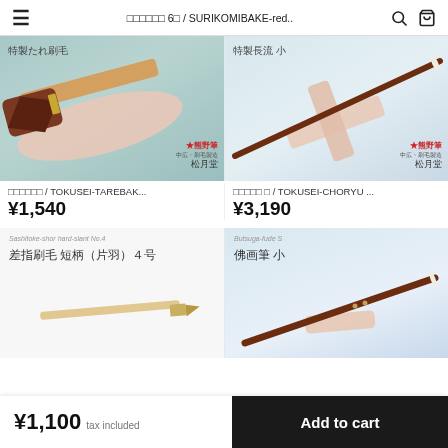≡  □□□□□□ 6□ / SURIKOMIBAKE-red..  🔍  🛒
[Figure (photo): Japanese calligraphy brush (Tokusei Tarebake) - flat wide brush with wooden handle resting on a carved wooden stand, aqua background with Kumano logo]
[Figure (photo): Japanese calligraphy brush (Tokusei-Choryu small) - long thin pointed brush with dark brown handle resting on carved wooden stand, light blue background with Kumano logo]
□□□□□□ / TOKUSEI-TAREBAK...
□□□□□ □ / TOKUSEI-CHORYU ...
¥1,540
¥3,190
[Figure (photo): Sashite Furioke short hard slant No.4 brush on white background - label reads: 差指刷毛 短柄（片羽）4号]
[Figure (photo): Butsugazfude S small brush on light blue background - label reads: 佛画筆 小]
¥1,100 tax included   Add to cart